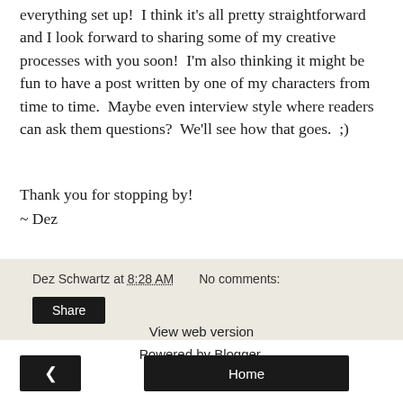everything set up!  I think it's all pretty straightforward and I look forward to sharing some of my creative processes with you soon!  I'm also thinking it might be fun to have a post written by one of my characters from time to time.  Maybe even interview style where readers can ask them questions?  We'll see how that goes.  ;)
Thank you for stopping by!
~ Dez
Dez Schwartz at 8:28 AM    No comments:
Share
‹
Home
View web version
Powered by Blogger.